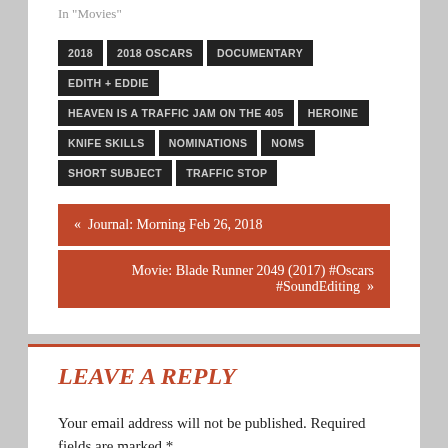In "Movies"
2018
2018 OSCARS
DOCUMENTARY
EDITH + EDDIE
HEAVEN IS A TRAFFIC JAM ON THE 405
HEROINE
KNIFE SKILLS
NOMINATIONS
NOMS
SHORT SUBJECT
TRAFFIC STOP
« Journal: Morning Feb 26, 2018
Movie: Blade Runner 2049 (2017) #Oscars #SoundEditing »
LEAVE A REPLY
Your email address will not be published. Required fields are marked *